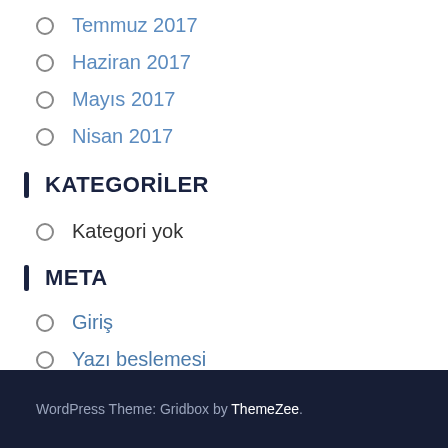Temmuz 2017
Haziran 2017
Mayıs 2017
Nisan 2017
KATEGORİLER
Kategori yok
META
Giriş
Yazı beslemesi
Yorum beslemesi
WordPress.org
WordPress Theme: Gridbox by ThemeZee.